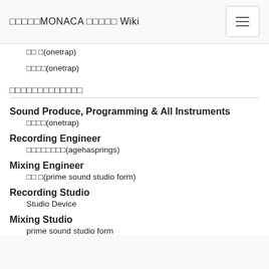□□□□□MONACA □□□□□ Wiki
□□ □(onetrap)
□□□□(onetrap)
□□□□□□□□□□□□□
Sound Produce, Programming & All Instruments
□□□□(onetrap)
Recording Engineer
□□□□□□□□(agehasprings)
Mixing Engineer
□□ □(prime sound studio form)
Recording Studio
Studio Device
Mixing Studio
prime sound studio form